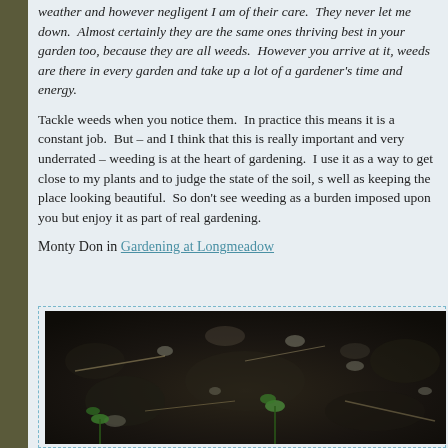weather and however negligent I am of their care.  They never let me down.  Almost certainly they are the same ones thriving best in your garden too, because they are all weeds.  However you arrive at it, weeds are there in every garden and take up a lot of a gardener's time and energy.
Tackle weeds when you notice them.  In practice this means it is a constant job.  But – and I think that this is really important and very underrated – weeding is at the heart of gardening.  I use it as a way to get close to my plants and to judge the state of the soil, s well as keeping the place looking beautiful.  So don't see weeding as a burden imposed upon you but enjoy it as part of real gardening.
Monty Don in Gardening at Longmeadow
[Figure (photo): Close-up photograph of dark soil/compost with small green seedlings emerging]